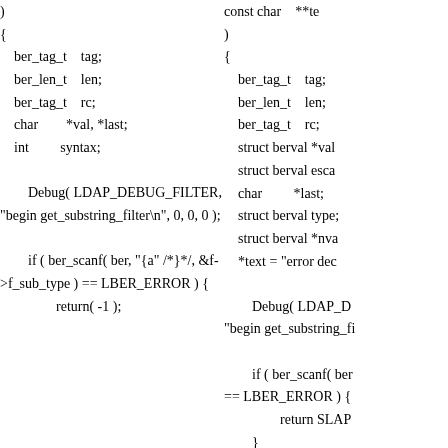)
{
    ber_tag_t    tag;
    ber_len_t    len;
    ber_tag_t    rc;
    char         *val, *last;
    int          syntax;

        Debug( LDAP_DEBUG_FILTER,
"begin get_substring_filter\n", 0, 0, 0 );

        if ( ber_scanf( ber, "{a" /*}*/, &f->f_sub_type ) == LBER_ERROR ) {
                return( -1 );
const char    **te
)
{
    ber_tag_t    tag;
    ber_len_t    len;
    ber_tag_t    rc;
    struct berval *val
    struct berval esca
    char          *last;
    struct berval type;
    struct berval *nva
    *text = "error dec

        Debug( LDAP_D
"begin get_substring_fi

        if ( ber_scanf( ber
== LBER_ERROR ) {
                return SLAP
        }

        f->f_sub = ch_cal
sizeof(SubstringsAssert
        f->f_sub_desc = N
        rc = slap_bv2ad(